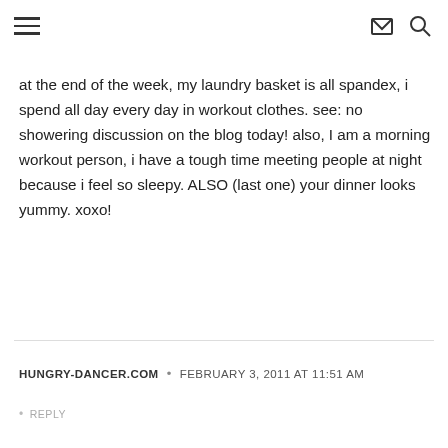≡  ✉  🔍
at the end of the week, my laundry basket is all spandex, i spend all day every day in workout clothes. see: no showering discussion on the blog today! also, I am a morning workout person, i have a tough time meeting people at night because i feel so sleepy. ALSO (last one) your dinner looks yummy. xoxo!
HUNGRY-DANCER.COM • FEBRUARY 3, 2011 AT 11:51 AM
• REPLY